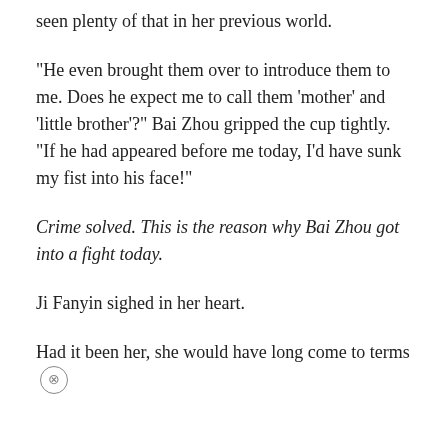seen plenty of that in her previous world.
“He even brought them over to introduce them to me. Does he expect me to call them ‘mother’ and ‘little brother’?” Bai Zhou gripped the cup tightly. “If he had appeared before me today, I’d have sunk my fist into his face!”
Crime solved. This is the reason why Bai Zhou got into a fight today.
Ji Fanyin sighed in her heart.
Had it been her, she would have long come to terms